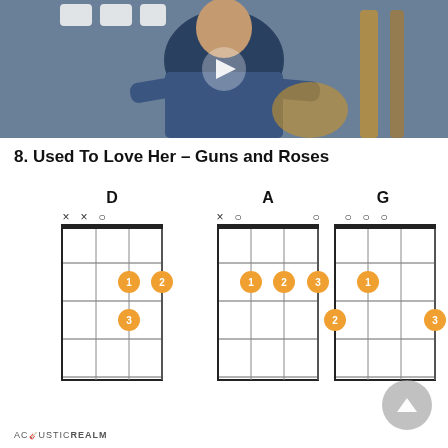[Figure (photo): A man in a blue henley shirt holding a guitar, with guitars visible on the right background. Video thumbnail with a play button overlay.]
8. Used To Love Her – Guns and Roses
[Figure (other): Guitar chord diagrams for D, A, and G chords showing finger positions on fretboard grids with numbered orange finger dots and open/muted string markers.]
ACOUSTICREALM